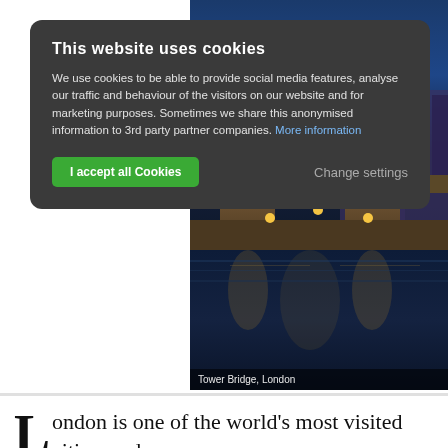[Figure (photo): Night photo of Tower Bridge in London illuminated with golden lights reflecting on the River Thames, with city skyline in the background]
Tower Bridge, London
This website uses cookies
We use cookies to be able to provide social media features, analyse our traffic and behaviour of the visitors on our website and for marketing purposes. Sometimes we share this anonymised information to 3rd party partner companies. More information
I accept all Cookies
Change settings
London is one of the world's most visited cities, and